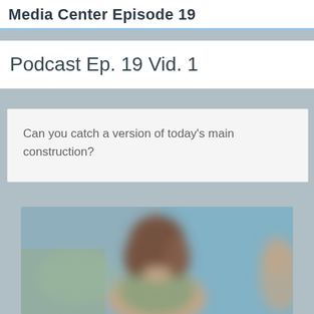Media Center Episode 19
Podcast Ep. 19 Vid. 1
Can you catch a version of today's main construction?
[Figure (photo): Blurred photo of a woman with brown hair, appearing to be in a classroom or educational setting with a blue wall in the background]